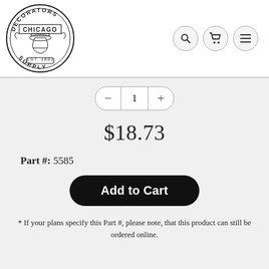[Figure (logo): Decorators Supply Chicago Est. 1883 circular logo with ornate column capital illustration]
[Figure (infographic): Navigation icon buttons: search (magnifying glass), cart (shopping cart), and menu (hamburger lines), each in a circular bordered button]
1
$18.73
Part #: 5585
Add to Cart
* If your plans specify this Part #, please note, that this product can still be ordered online.